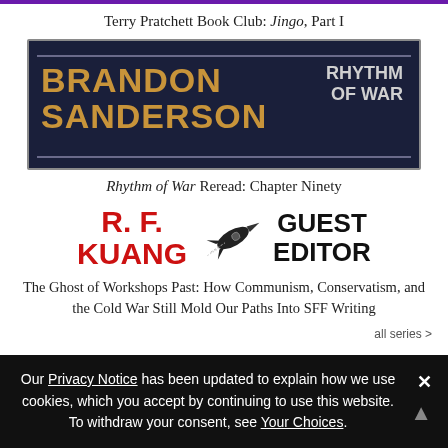Terry Pratchett Book Club: Jingo, Part I
[Figure (illustration): Brandon Sanderson Rhythm of War book banner with gold lettering on dark navy background]
Rhythm of War Reread: Chapter Ninety
[Figure (illustration): R. F. Kuang Guest Editor banner with rocket logo]
The Ghost of Workshops Past: How Communism, Conservatism, and the Cold War Still Mold Our Paths Into SFF Writing
all series >
Our Privacy Notice has been updated to explain how we use cookies, which you accept by continuing to use this website. To withdraw your consent, see Your Choices.